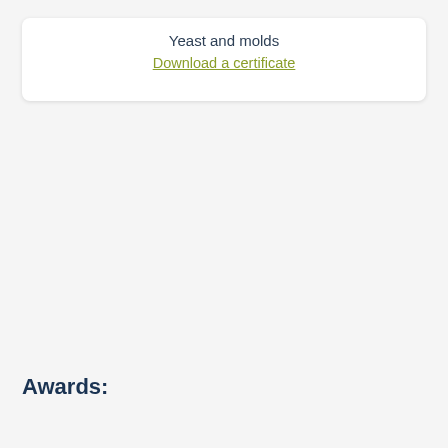Yeast and molds
Download a certificate
Awards: